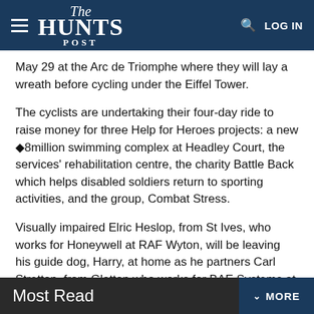The HUNTS POST
May 29 at the Arc de Triomphe where they will lay a wreath before cycling under the Eiffel Tower.
The cyclists are undertaking their four-day ride to raise money for three Help for Heroes projects: a new ◆8million swimming complex at Headley Court, the services' rehabilitation centre, the charity Battle Back which helps disabled soldiers return to sporting activities, and the group, Combat Stress.
Visually impaired Elric Heslop, from St Ives, who works for Honeywell at RAF Wyton, will be leaving his guide dog, Harry, at home as he partners Carl Stretton, from Glatton who works for BAE Systems at Wyton, on the only tandem bicycle taking part.
Most Read